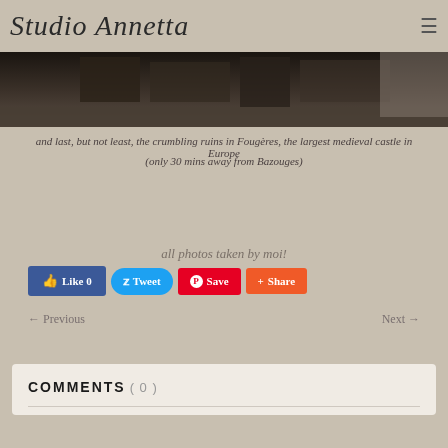Studio Annetta
[Figure (photo): Dark image of crumbling ruins at Fougères castle]
and last, but not least, the crumbling ruins in Fougères, the largest medieval castle in Europe
(only 30 mins away from Bazouges)
all photos taken by moi!
Like 0   Tweet   Save   Share
← Previous   Next →
COMMENTS ( 0 )